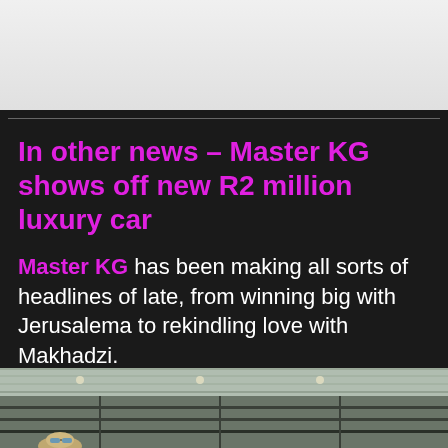[Figure (photo): Light gray rectangle area at top of page (partial image cutoff)]
In other news – Master KG shows off new R2 million luxury car
Master KG has been making all sorts of headlines of late, from winning big with Jerusalema to rekindling love with Makhadzi.
[Figure (photo): Interior photo of what appears to be a luxury car showroom or airport terminal with ceiling lights and a person with sunglasses visible at the bottom]